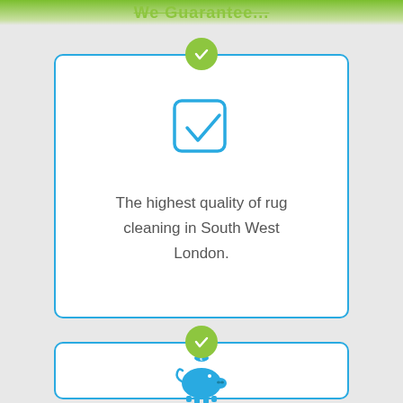We Guarantee...
[Figure (illustration): White card with blue border containing a blue checkbox icon, topped with a green checkmark circle badge]
The highest quality of rug cleaning in South West London.
[Figure (illustration): White card with blue border containing a blue piggy bank icon with a coin, topped with a green checkmark circle badge]